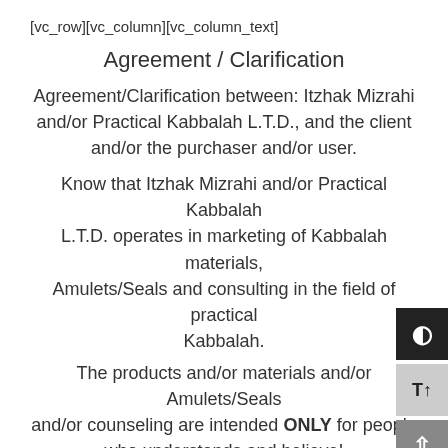[vc_row][vc_column][vc_column_text]
Agreement / Clarification
Agreement/Clarification between: Itzhak Mizrahi and/or Practical Kabbalah L.T.D., and the client and/or the purchaser and/or user.
Know that Itzhak Mizrahi and/or Practical Kabbalah L.T.D. operates in marketing of Kabbalah materials, Amulets/Seals and consulting in the field of practical Kabbalah.
The products and/or materials and/or Amulets/Seals and/or counseling are intended ONLY for people who understands and believe!
All materials and/or any part in the field of practical Kabbalah has never been proven scientifically or else!